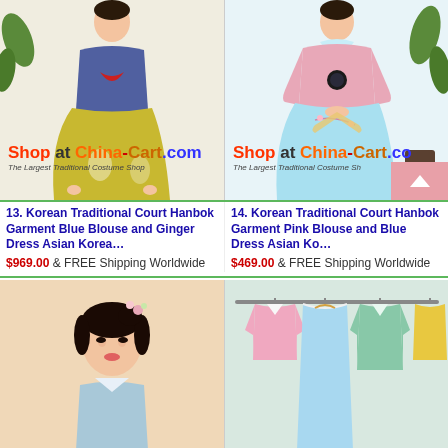[Figure (photo): Woman wearing Korean Traditional Court Hanbok with blue blouse and yellow/ginger dress, watermark Shop at China-Cart.com]
[Figure (photo): Woman wearing Korean Traditional Court Hanbok with pink blouse and light blue dress, watermark Shop at China-Cart.com]
13. Korean Traditional Court Hanbok Garment Blue Blouse and Ginger Dress Asian Korea…
$969.00 & FREE Shipping Worldwide
14. Korean Traditional Court Hanbok Garment Pink Blouse and Blue Dress Asian Ko…
$469.00 & FREE Shipping Worldwide
[Figure (photo): Woman with flower hair accessory wearing Korean traditional hanbok, smiling, peach background]
[Figure (photo): Colorful hanbok garments on display/hangers, pastel colors including pink, blue, green]